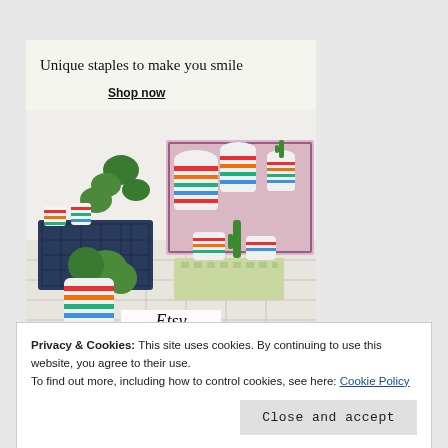[Figure (illustration): Etsy advertisement showing colorful striped ceramic pots and planters with plants, on a white tiled surface with a pink backdrop and dark crate. Text overlay: 'Unique staples to make you smile', 'Shop now', and 'Etsy' logo.]
Privacy & Cookies: This site uses cookies. By continuing to use this website, you agree to their use.
To find out more, including how to control cookies, see here: Cookie Policy
Close and accept